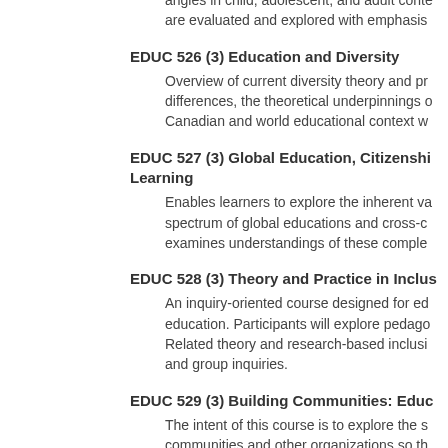angles in child, adolescent, and adult conte... are evaluated and explored with emphasis...
EDUC 526 (3) Education and Diversity
Overview of current diversity theory and pr... differences, the theoretical underpinnings o... Canadian and world educational context w...
EDUC 527 (3) Global Education, Citizenship... Learning
Enables learners to explore the inherent va... spectrum of global educations and cross-c... examines understandings of these comple...
EDUC 528 (3) Theory and Practice in Inclus...
An inquiry-oriented course designed for ed... education. Participants will explore pedago... Related theory and research-based inclusi... and group inquiries.
EDUC 529 (3) Building Communities: Educ...
The intent of this course is to explore the s... communities and other organizations so th... theoretically, to engage in education as a "...
EDUC 560 (3/6) d Directed Studies in Educa...
EDUC 562 (3-9) d Special Topics in Educati...